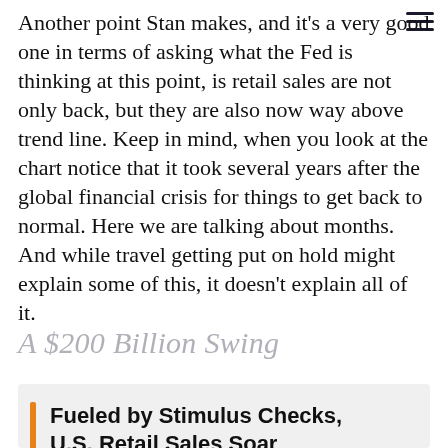Another point Stan makes, and it's a very good one in terms of asking what the Fed is thinking at this point, is retail sales are not only back, but they are also now way above trend line. Keep in mind, when you look at the chart notice that it took several years after the global financial crisis for things to get back to normal. Here we are talking about months. And while travel getting put on hold might explain some of this, it doesn't explain all of it.
A $200 Billion Swing
Fueled by Stimulus Checks, U.S. Retail Sales Soar